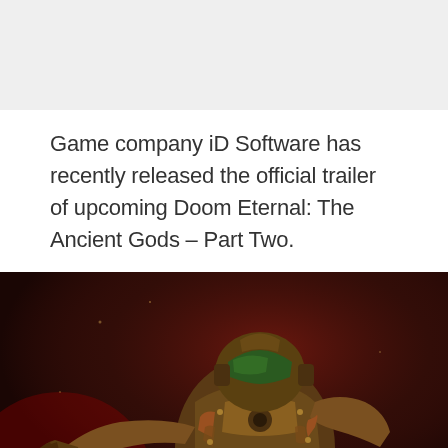Game company iD Software has recently released the official trailer of upcoming Doom Eternal: The Ancient Gods – Part Two.
[Figure (photo): A photo of a Doom Eternal action figure or character — the Doom Slayer in green and orange armor, posed dynamically against a dark reddish background.]